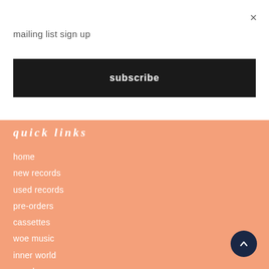×
mailing list sign up
subscribe
quick links
home
new records
used records
pre-orders
cassettes
woe music
inner world
merch